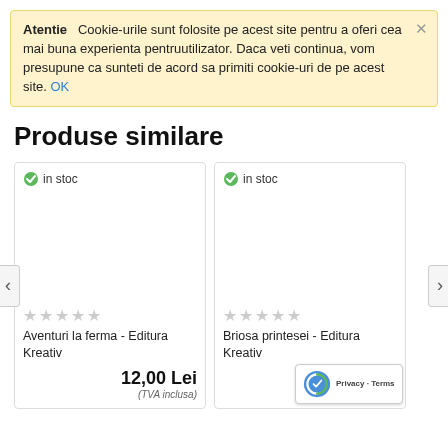Atentie  Cookie-urile sunt folosite pe acest site pentru a oferi cea mai buna experienta pentruutilizator. Daca veti continua, vom presupune ca sunteti de acord sa primiti cookie-uri de pe acest site. OK
Produse similare
[Figure (screenshot): Product card for 'Aventuri la ferma - Editura Kreativ' showing in stoc badge, empty star rating, and price 12,00 Lei (TVA inclusa)]
[Figure (screenshot): Product card for 'Briosa printesei - Editura Kreativ' showing in stoc badge, empty star rating, and price 20,0... Lei (TVA inclusa)]